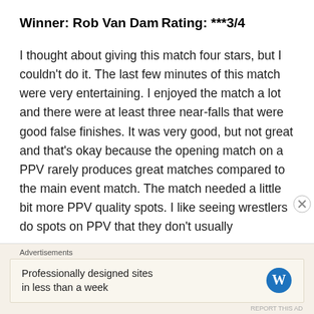Winner: Rob Van Dam
Rating: ***3/4
I thought about giving this match four stars, but I couldn't do it. The last few minutes of this match were very entertaining. I enjoyed the match a lot and there were at least three near-falls that were good false finishes. It was very good, but not great and that's okay because the opening match on a PPV rarely produces great matches compared to the main event match. The match needed a little bit more PPV quality spots. I like seeing wrestlers do spots on PPV that they don't usually
Advertisements
Professionally designed sites in less than a week